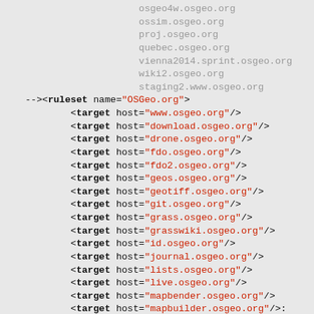osgeo4w.osgeo.org
                        ossim.osgeo.org
                        proj.osgeo.org
                        quebec.osgeo.org
                        vienna2014.sprint.osgeo.org
                        wiki2.osgeo.org
                        staging2.www.osgeo.org
--><ruleset name="OSGeo.org">
            <target host="www.osgeo.org"/>
            <target host="download.osgeo.org"/>
            <target host="drone.osgeo.org"/>
            <target host="fdo.osgeo.org"/>
            <target host="fdo2.osgeo.org"/>
            <target host="geos.osgeo.org"/>
            <target host="geotiff.osgeo.org"/>
            <target host="git.osgeo.org"/>
            <target host="grass.osgeo.org"/>
            <target host="grasswiki.osgeo.org"/>
            <target host="id.osgeo.org"/>
            <target host="journal.osgeo.org"/>
            <target host="lists.osgeo.org"/>
            <target host="live.osgeo.org"/>
            <target host="mapbender.osgeo.org"/>
            <target host="mapbuilder.osgeo.org"/>
            <target host="planet.osgeo.org"/>
            <target host="svn.osgeo.org"/>
            <target host="trac.osgeo.org"/>
            <target host="wiki.osgeo.org"/>
            <target host="staging.www.osgeo.org",